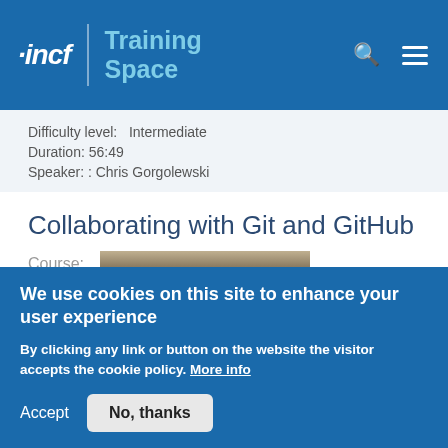[Figure (logo): INCF Training Space website header with logo, search icon, and hamburger menu on blue background]
Difficulty level:   Intermediate
Duration: 56:49
Speaker: : Chris Gorgolewski
Collaborating with Git and GitHub
Course:
[Figure (screenshot): Video thumbnail showing dark background with speaker silhouettes]
We use cookies on this site to enhance your user experience
By clicking any link or button on the website the visitor accepts the cookie policy. More info
Accept
No, thanks